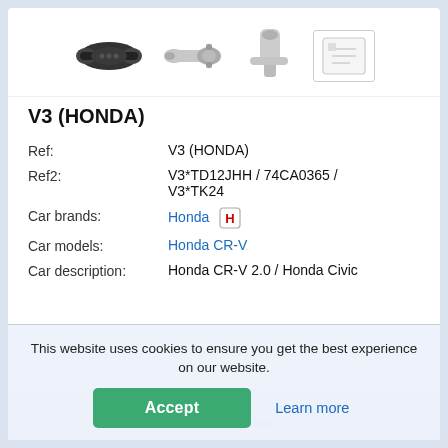[Figure (photo): Four product images: a black catalytic converter part, a silver catalytic converter, a partial/cropped part image, and a white box placeholder with an icon]
V3 (HONDA)
| Ref: | V3 (HONDA) |
| Ref2: | V3*TD12JHH / 74CA0365 / V3*TK24 |
| Car brands: | Honda [Honda logo] |
| Car models: | Honda CR-V |
| Car description: | Honda CR-V 2.0 / Honda Civic |
This website uses cookies to ensure you get the best experience on our website.
Accept
Learn more
show the price